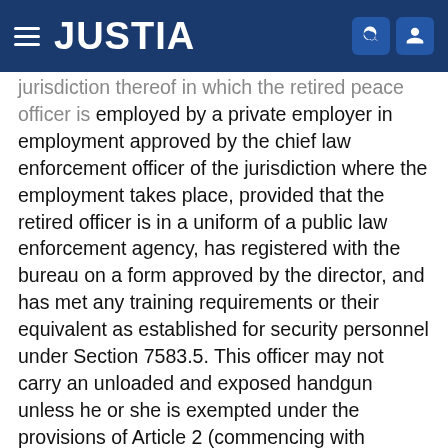JUSTIA
jurisdiction thereof in which the retired peace officer is employed by a private employer in employment approved by the chief law enforcement officer of the jurisdiction where the employment takes place, provided that the retired officer is in a uniform of a public law enforcement agency, has registered with the bureau on a form approved by the director, and has met any training requirements or their equivalent as established for security personnel under Section 7583.5. This officer may not carry an unloaded and exposed handgun unless he or she is exempted under the provisions of Article 2 (commencing with Section 26361) of Chapter 6 of Division 5 of Title 4 of Part 6 of the Penal Code, may not carry an unloaded firearm that is not a handgun unless he or she is exempted under the provisions of Article 2 (commencing with Section 26405) of Chapter 7 of Division 5 of Title 4 of Part 6 of the Penal